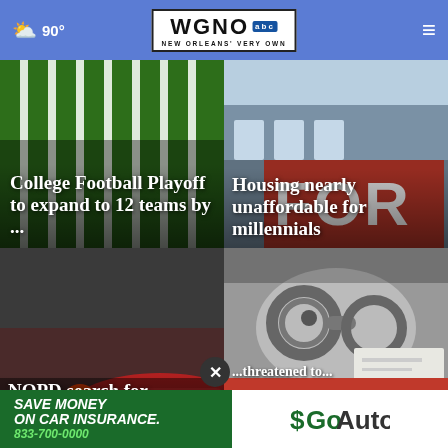☁ 90° WGNO abc NEW ORLEANS' VERY OWN
[Figure (photo): Football field yard lines on green turf]
College Football Playoff to expand to 12 teams by ...
[Figure (photo): Red FOR SALE sign on building]
Housing nearly unaffordable for millennials
[Figure (photo): Car at night with red tail lights - NOPD search scene]
NOPD search for car...suspect and...
[Figure (photo): Handcuffs with ARREST text overlay]
...threatened to...
[Figure (infographic): GoAuto advertisement - SAVE MONEY ON CAR INSURANCE. 833-700-0000]